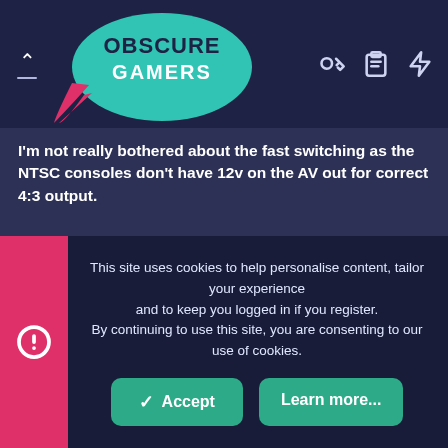[Figure (logo): Obscure Gamers logo — teal/pink speech bubble with 'OBSCURE GAMERS' text in white]
I'm not really bothered about the fast switching as the NTSC consoles don't have 12v on the AV out for correct 4:3 output.
Trimesh
Donator  Donator  Registered
Nov 26, 2019  #4
This site uses cookies to help personalise content, tailor your experience and to keep you logged in if you register.
By continuing to use this site, you are consenting to our use of cookies.